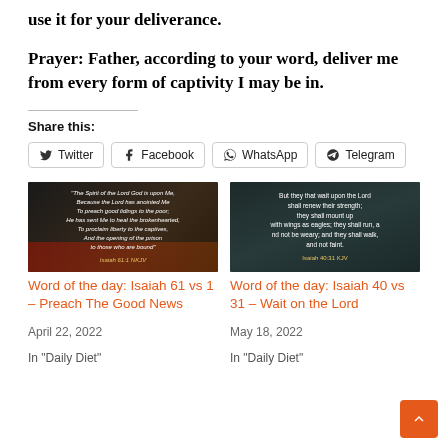use it for your deliverance.
Prayer: Father, according to your word, deliver me from every form of captivity I may be in.
Share this:
Twitter  Facebook  WhatsApp  Telegram
[Figure (photo): Dark background image with Bible verse text from Isaiah 61:1 in italic white font with golden reference text]
Word of the day: Isaiah 61 vs 1 – Preach The Good News
April 22, 2022
In "Daily Diet"
[Figure (photo): Dark teal background image with Bible verse text from Isaiah 40:31 KJV in white font]
Word of the day: Isaiah 40 vs 31 – Wait on the Lord
May 18, 2022
In "Daily Diet"